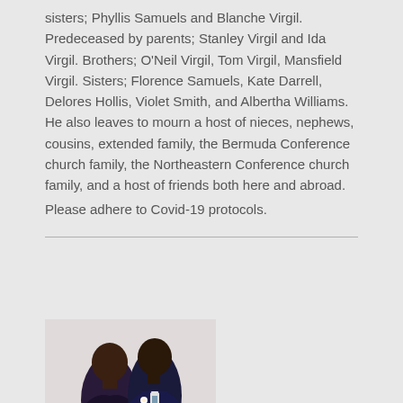sisters; Phyllis Samuels and Blanche Virgil. Predeceased by parents; Stanley Virgil and Ida Virgil. Brothers; O'Neil Virgil, Tom Virgil, Mansfield Virgil. Sisters; Florence Samuels, Kate Darrell, Delores Hollis, Violet Smith, and Albertha Williams. He also leaves to mourn a host of nieces, nephews, cousins, extended family, the Bermuda Conference church family, the Northeastern Conference church family, and a host of friends both here and abroad.
Please adhere to Covid-19 protocols.
[Figure (photo): A couple photographed together; a woman in a dark top on the left and a man in a suit on the right]